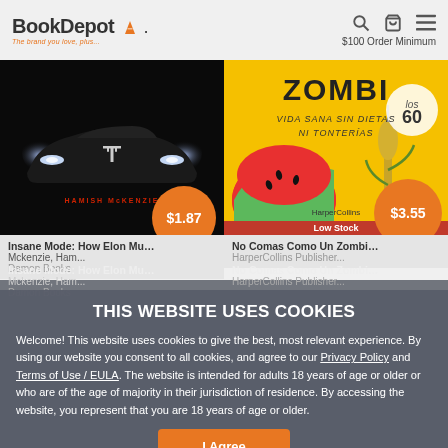[Figure (logo): BookDepot logo with orange book icon and tagline 'The brand you love, plus...']
$100 Order Minimum
[Figure (photo): Book cover: Insane Mode - dark image of Tesla car front with headlights, author Hamish McKenzie, price badge $1.87]
[Figure (photo): Book cover: No Comas Como Un Zombi - yellow cover with watermelon and text 'ZOMBI VIDA SANA SIN DIETAS NI TONTERIAS', HarperCollins, price badge $3.55, Low Stock banner]
Insane Mode: How Elon Mu... Mckenzie, Ham...
No Comas Como Un Zombi...
Damon Books
HarperCollins Publisher...
THIS WEBSITE USES COOKIES
Welcome! This website uses cookies to give the best, most relevant experience. By using our website you consent to all cookies, and agree to our Privacy Policy and Terms of Use / EULA. The website is intended for adults 18 years of age or older or who are of the age of majority in their jurisdiction of residence. By accessing the website, you represent that you are 18 years of age or older.
I Agree